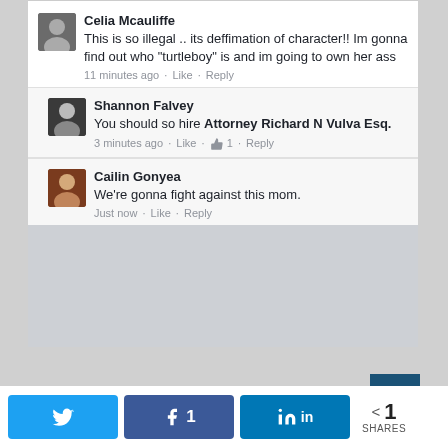Celia Mcauliffe — This is so illegal .. its deffimation of character!! Im gonna find out who "turtleboy" is and im going to own her ass — 11 minutes ago · Like · Reply
Shannon Falvey — You should so hire Attorney Richard N Vulva Esq. — 3 minutes ago · Like · 1 · Reply
Cailin Gonyea — We're gonna fight against this mom. — Just now · Like · Reply
[Figure (other): Gray/blurred placeholder rectangle below comments]
< 1 SHARES (share buttons: Twitter, Facebook 1, LinkedIn)